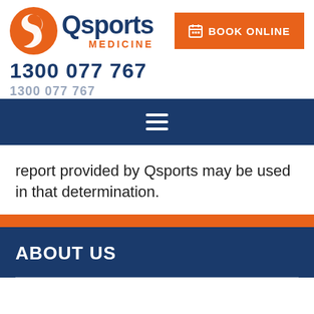[Figure (logo): Qsports Medicine logo: orange circle with white S-shaped bird silhouette, dark blue text 'Qsports' and orange text 'MEDICINE']
1300 077 767
BOOK ONLINE
[Figure (other): Hamburger menu icon (three horizontal white lines) on dark navy background]
report provided by Qsports may be used in that determination.
ABOUT US